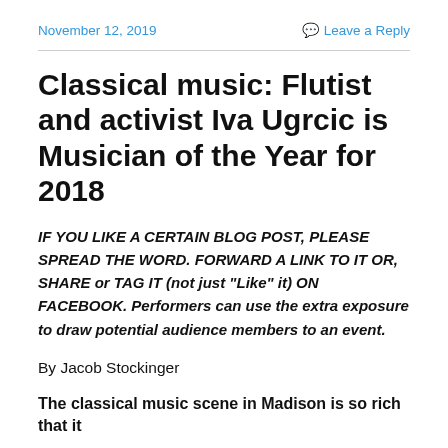November 12, 2019    Leave a Reply
Classical music: Flutist and activist Iva Ugrcic is Musician of the Year for 2018
IF YOU LIKE A CERTAIN BLOG POST, PLEASE SPREAD THE WORD. FORWARD A LINK TO IT OR, SHARE or TAG IT (not just “Like” it) ON FACEBOOK. Performers can use the extra exposure to draw potential audience members to an event.
By Jacob Stockinger
The classical music scene in Madison is so rich that it